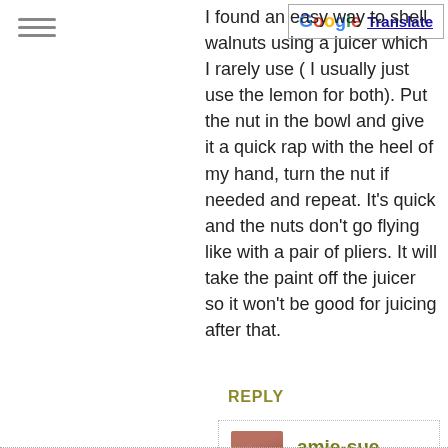I found an easy way to shell walnuts using a juicer which I rarely use ( I usually just use the lemon for both). Put the nut in the bowl and give it a quick rap with the heel of my hand, turn the nut if needed and repeat. It's quick and the nuts don't go flying like with a pair of pliers. It will take the paint off the juicer so it won't be good for juicing after that.
REPLY
amie-sue says:
October 31, 2018 at 8:10 am
I LOVE that idea Lisa. I am going to give that a try. Thanks for sharing the idea with us! amie sue
REPLY